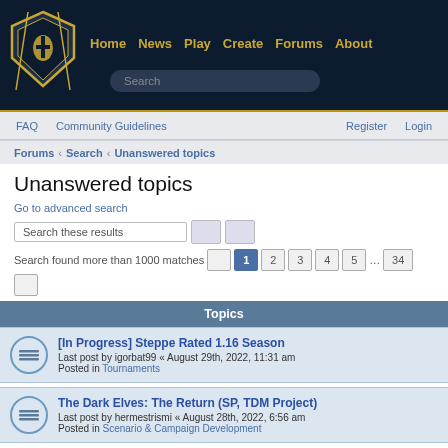Home  News  Play  Create  Forums  About
FAQ  Community Guidelines  Register  Login
Forums › Search › Unanswered topics
Unanswered topics
Go to advanced search
Search these results
Search found more than 1000 matches  1 2 3 4 5 … 34
Topics
[In Progress] Steppe Rated 1.16 Season
Last post by igorbat99 « August 29th, 2022, 11:31 am
Posted in Tournaments
The Dark Elves: The Return (SP, TDM Project)
Last post by hermestrismi « August 28th, 2022, 6:56 am
Posted in Scenario & Campaign Development